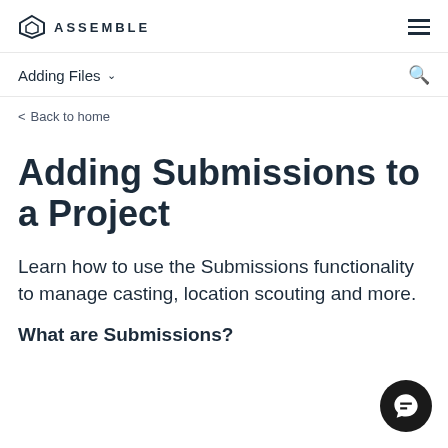ASSEMBLE
Adding Files
< Back to home
Adding Submissions to a Project
Learn how to use the Submissions functionality to manage casting, location scouting and more.
What are Submissions?